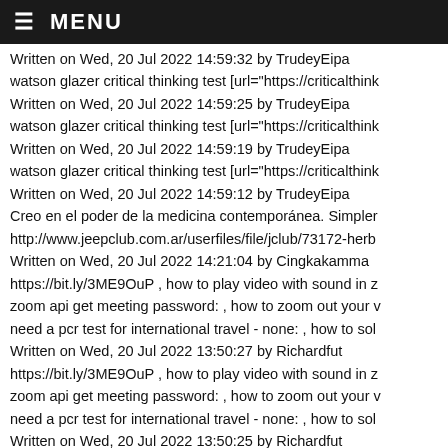≡ MENU
Written on Wed, 20 Jul 2022 14:59:32 by TrudeyEipa
watson glazer critical thinking test [url="https://criticalthink
Written on Wed, 20 Jul 2022 14:59:25 by TrudeyEipa
watson glazer critical thinking test [url="https://criticalthink
Written on Wed, 20 Jul 2022 14:59:19 by TrudeyEipa
watson glazer critical thinking test [url="https://criticalthink
Written on Wed, 20 Jul 2022 14:59:12 by TrudeyEipa
Creo en el poder de la medicina contemporánea. Simpler
http://www.jeepclub.com.ar/userfiles/file/jclub/73172-herb
Written on Wed, 20 Jul 2022 14:21:04 by Cingkakamma
https://bit.ly/3ME9OuP , how to play video with sound in z
zoom api get meeting password: , how to zoom out your v
need a pcr test for international travel - none: , how to sol
Written on Wed, 20 Jul 2022 13:50:27 by Richardfut
https://bit.ly/3ME9OuP , how to play video with sound in z
zoom api get meeting password: , how to zoom out your v
need a pcr test for international travel - none: , how to sol
Written on Wed, 20 Jul 2022 13:50:25 by Richardfut
https://bit.ly/3ME9OuP , how to play video with sound in z
zoom api get meeting password: , how to zoom out your v
need a pcr test for international travel - none: , how to sol
Written on Wed, 20 Jul 2022 13:50:22 by Richardfut